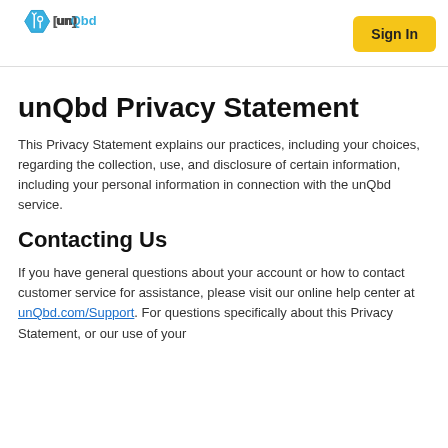[Figure (logo): unQbd logo with hexagon icon and blue text]
Sign In
unQbd Privacy Statement
This Privacy Statement explains our practices, including your choices, regarding the collection, use, and disclosure of certain information, including your personal information in connection with the unQbd service.
Contacting Us
If you have general questions about your account or how to contact customer service for assistance, please visit our online help center at unQbd.com/Support. For questions specifically about this Privacy Statement, or our use of your